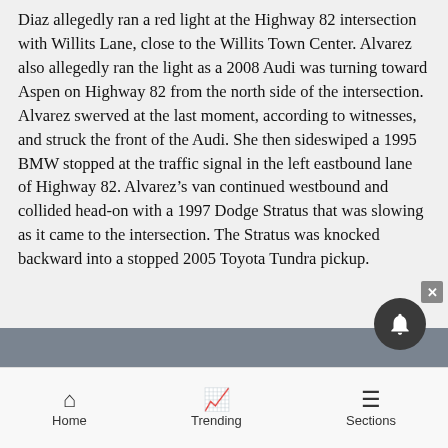Diaz allegedly ran a red light at the Highway 82 intersection with Willits Lane, close to the Willits Town Center. Alvarez also allegedly ran the light as a 2008 Audi was turning toward Aspen on Highway 82 from the north side of the intersection. Alvarez swerved at the last moment, according to witnesses, and struck the front of the Audi. She then sideswiped a 1995 BMW stopped at the traffic signal in the left eastbound lane of Highway 82. Alvarez's van continued westbound and collided head-on with a 1997 Dodge Stratus that was slowing as it came to the intersection. The Stratus was knocked backward into a stopped 2005 Toyota Tundra pickup.
Home   Trending   Sections